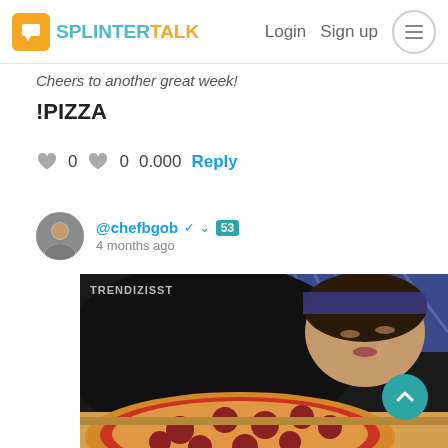SPLINTERTALK — Login  Sign up
Cheers to another great week!
!PIZZA
0   0   0.000   Reply
@chefbgob ✓ 53
4 months ago
[Figure (photo): Woman lying face-down next to an open pizza box with pepperoni pizza. Watermark: TRENDIZISST. Teal scroll-to-top button visible at bottom right.]